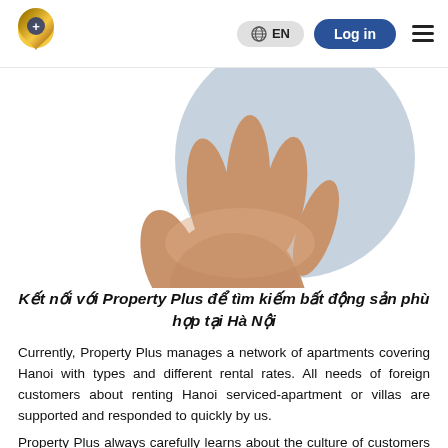Property Plus — EN | Log in
[Figure (photo): A hand held up against a light blue circular background, photographed from below showing the palm and fingers.]
Kết nối với Property Plus để tìm kiếm bất động sản phù hợp tại Hà Nội
Currently, Property Plus manages a network of apartments covering Hanoi with types and different rental rates. All needs of foreign customers about renting Hanoi serviced-apartment or villas are supported and responded to quickly by us.
Property Plus always carefully learns about the culture of customers from many countries. Along with that is the quality of service according to 5-star standards. All of these contribute to helping customers find a suitable place to live according to conditions and the needs of different...